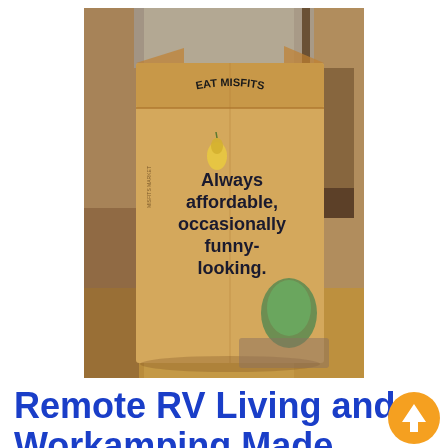[Figure (photo): A cardboard box branded 'EAT MISFITS' with text on the front reading 'Always affordable, occasionally funny-looking.' The box has a small yellow pear and green vegetable illustration. Background shows a home interior with wooden furniture and a doorway.]
Remote RV Living and Workamping Made Easier